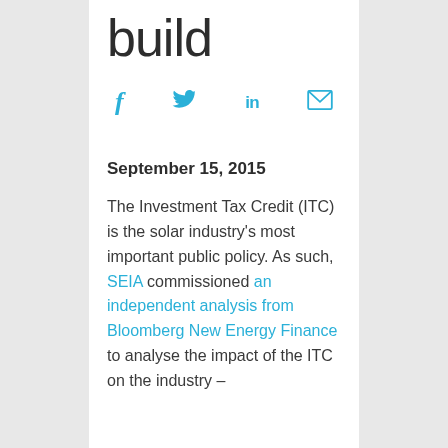build
[Figure (other): Social media share icons: Facebook (f), Twitter (bird), LinkedIn (in), Email (envelope)]
September 15, 2015
The Investment Tax Credit (ITC) is the solar industry's most important public policy. As such, SEIA commissioned an independent analysis from Bloomberg New Energy Finance to analyse the impact of the ITC on the industry –